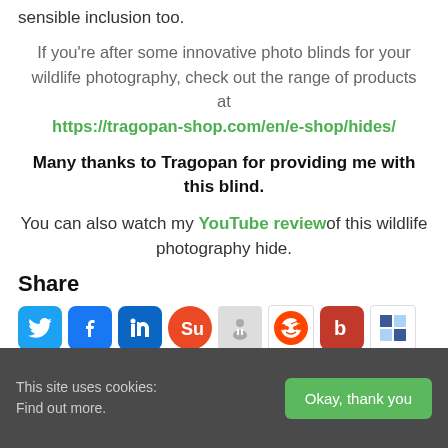sensible inclusion too.
If you’re after some innovative photo blinds for your wildlife photography, check out the range of products at https://tragopan-shop.com/en/e-shop/hides/
Many thanks to Tragopan for providing me with this blind.
You can also watch my YouTube review of this wildlife photography hide.
Share
[Figure (other): Row of social sharing icons: Twitter, Facebook, LinkedIn, StumbleUpon, another icon, Reddit, Bebo/another, Delicious]
This site uses cookies: Find out more.